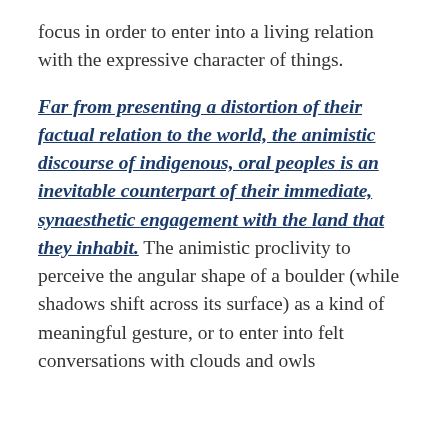focus in order to enter into a living relation with the expressive character of things.
Far from presenting a distortion of their factual relation to the world, the animistic discourse of indigenous, oral peoples is an inevitable counterpart of their immediate, synaesthetic engagement with the land that they inhabit. The animistic proclivity to perceive the angular shape of a boulder (while shadows shift across its surface) as a kind of meaningful gesture, or to enter into felt conversations with clouds and owls